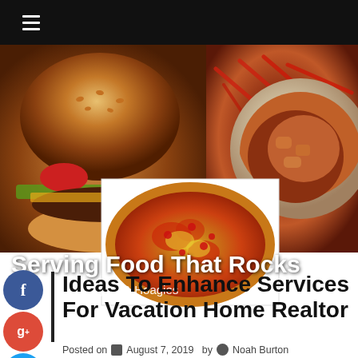☰
[Figure (photo): Collage of food photos: a burger on the left, chili dish on the right, and a pizza overlay in the center-bottom. Text overlay reads 'Serving Food That Rocks' and 'Pizza Pasta Burgers & Hoagies']
Ideas To Enhance Services For Vacation Home Realtor
Posted on  August 7, 2019  by  Noah Burton
The vacation homes become a luxurious getaway for